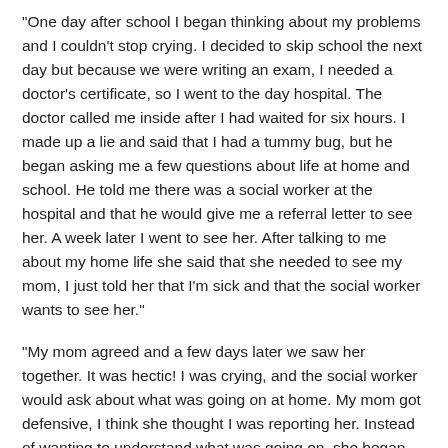"One day after school I began thinking about my problems and I couldn't stop crying. I decided to skip school the next day but because we were writing an exam, I needed a doctor's certificate, so I went to the day hospital. The doctor called me inside after I had waited for six hours. I made up a lie and said that I had a tummy bug, but he began asking me a few questions about life at home and school. He told me there was a social worker at the hospital and that he would give me a referral letter to see her. A week later I went to see her. After talking to me  about my home life she said that she needed to see my mom, I just told her that I'm sick and that the social worker wants to see her."
"My mom agreed and a few days later we saw her together. It was hectic! I was crying, and the social worker would ask about what was going on at home. My mom got defensive, I think she thought I was reporting her. Instead of wanting to understand what was going on, she began blaming me. My mom pointed out everything I had done wrong in my life, as if she wanted to prove I was not trustworthy. I did not say anything because I was too hurt. I wanted her to listen to what was happening to me at...